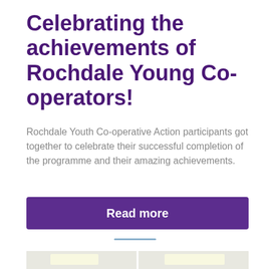Celebrating the achievements of Rochdale Young Co-operators!
Rochdale Youth Co-operative Action participants got together to celebrate their successful completion of the programme and their amazing achievements.
Read more
[Figure (photo): Group photo of people indoors in an office/meeting room, holding up papers. Multiple people visible including a young man with glasses on the left, several women in the center, and more people on the right side.]